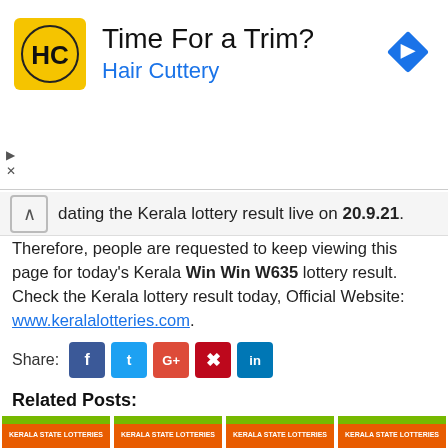[Figure (infographic): Hair Cuttery advertisement banner with yellow logo, 'Time For a Trim?' headline, 'Hair Cuttery' subtitle in blue, and blue navigation diamond icon]
dating the Kerala lottery result live on 20.9.21.
Therefore, people are requested to keep viewing this page for today's Kerala Win Win W635 lottery result. Check the Kerala lottery result today, Official Website: www.keralalotteries.com.
Share: [Facebook] [Twitter] [Google+] [Pinterest] [LinkedIn]
Related Posts:
[Figure (photo): Four Kerala State Lotteries thumbnail images in a row]